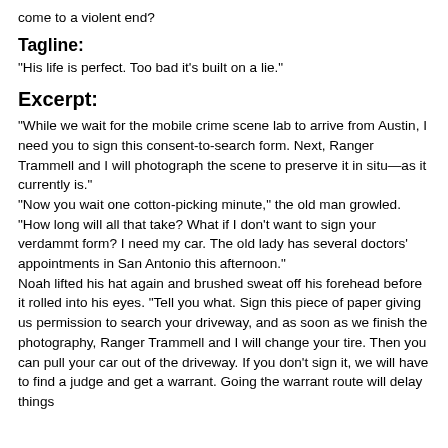come to a violent end?
Tagline:
“His life is perfect. Too bad it’s built on a lie.”
Excerpt:
“While we wait for the mobile crime scene lab to arrive from Austin, I need you to sign this consent-to-search form. Next, Ranger Trammell and I will photograph the scene to preserve it in situ—as it currently is.”
“Now you wait one cotton-picking minute,” the old man growled. “How long will all that take? What if I don’t want to sign your verdammt form? I need my car. The old lady has several doctors’ appointments in San Antonio this afternoon.”
Noah lifted his hat again and brushed sweat off his forehead before it rolled into his eyes. “Tell you what. Sign this piece of paper giving us permission to search your driveway, and as soon as we finish the photography, Ranger Trammell and I will change your tire. Then you can pull your car out of the driveway. If you don’t sign it, we will have to find a judge and get a warrant. Going the warrant route will delay things